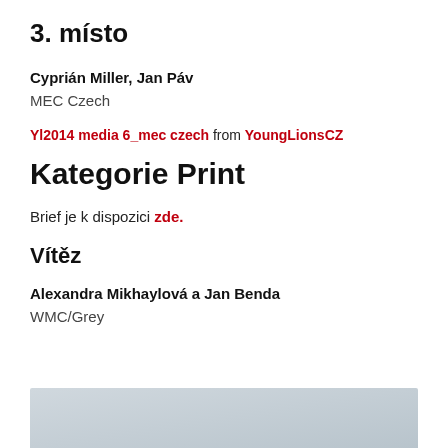3. místo
Cyprián Miller, Jan Páv
MEC Czech
Yl2014 media 6_mec czech from YoungLionsCZ
Kategorie Print
Brief je k dispozici zde.
Vítěz
Alexandra Mikhaylová a Jan Benda
WMC/Grey
[Figure (photo): Partial view of a grey-toned image at the bottom of the page]